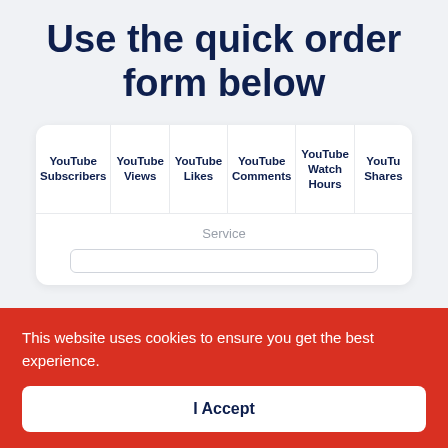Use the quick order form below
| YouTube Subscribers | YouTube Views | YouTube Likes | YouTube Comments | YouTube Watch Hours | YouTube Shares |
| --- | --- | --- | --- | --- | --- |
Service
This website uses cookies to ensure you get the best experience.
I Accept